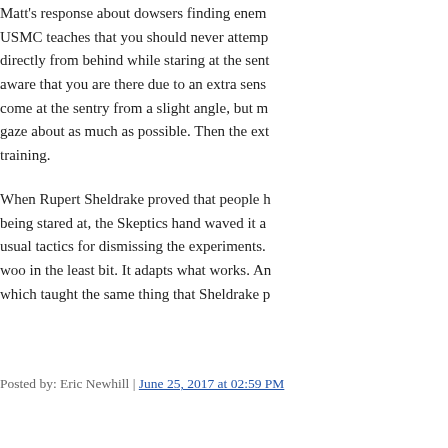Matt's response about dowsers finding enemy. USMC teaches that you should never attempt directly from behind while staring at the sent aware that you are there due to an extra sens come at the sentry from a slight angle, but m gaze about as much as possible. Then the ext training.
When Rupert Sheldrake proved that people b being stared at, the Skeptics hand waved it a usual tactics for dismissing the experiments. woo in the least bit. It adapts what works. Ar which taught the same thing that Sheldrake p
Posted by: Eric Newhill | June 25, 2017 at 02:59 PM
"dovetails with" = "consilience"
Conratualtions to all who are capitalizing "Sk inflammatory terms like sneer-quoted "skept differentiating hard-line, "movement" Skepti skeptical.
The head post contained this: "(pace the Ske